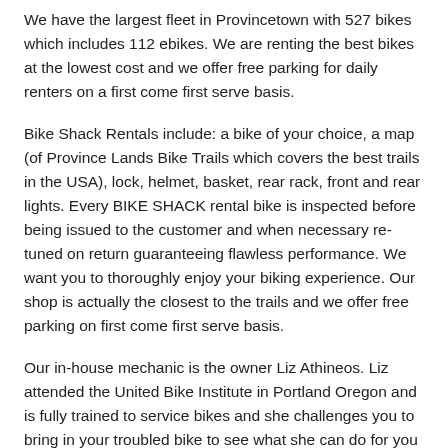We have the largest fleet in Provincetown with 527 bikes which includes 112 ebikes. We are renting the best bikes at the lowest cost and we offer free parking for daily renters on a first come first serve basis.
Bike Shack Rentals include: a bike of your choice, a map (of Province Lands Bike Trails which covers the best trails in the USA), lock, helmet, basket, rear rack, front and rear lights. Every BIKE SHACK rental bike is inspected before being issued to the customer and when necessary re-tuned on return guaranteeing flawless performance. We want you to thoroughly enjoy your biking experience. Our shop is actually the closest to the trails and we offer free parking on first come first serve basis.
Our in-house mechanic is the owner Liz Athineos. Liz attended the United Bike Institute in Portland Oregon and is fully trained to service bikes and she challenges you to bring in your troubled bike to see what she can do for you at a reasonable price. No repairs are too big or too small. We stock a variety of tubes, tires, wheels, many bicycles parts and accessories. If we don't have the part we can order it and have it within 2-3 days. We sell and rent Giant & Avocado ebikes which are the best ebikes on the market today. We rent Mountain Bikes, Comfort Hybrid Bikes, Beach Cruisers, Off Road, On Road,